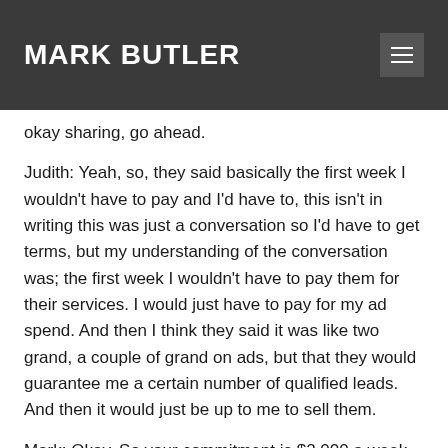MARK BUTLER
okay sharing, go ahead.
Judith: Yeah, so, they said basically the first week I wouldn't have to pay and I'd have to, this isn't in writing this was just a conversation so I'd have to get terms, but my understanding of the conversation was; the first week I wouldn't have to pay them for their services. I would just have to pay for my ad spend. And then I think they said it was like two grand, a couple of grand on ads, but that they would guarantee me a certain number of qualified leads. And then it would just be up to me to sell them.
Mark: Okay. So your commitment is $2,000 a week